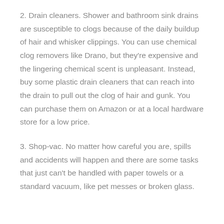2. Drain cleaners. Shower and bathroom sink drains are susceptible to clogs because of the daily buildup of hair and whisker clippings. You can use chemical clog removers like Drano, but they're expensive and the lingering chemical scent is unpleasant. Instead, buy some plastic drain cleaners that can reach into the drain to pull out the clog of hair and gunk. You can purchase them on Amazon or at a local hardware store for a low price.
3. Shop-vac. No matter how careful you are, spills and accidents will happen and there are some tasks that just can't be handled with paper towels or a standard vacuum, like pet messes or broken glass.